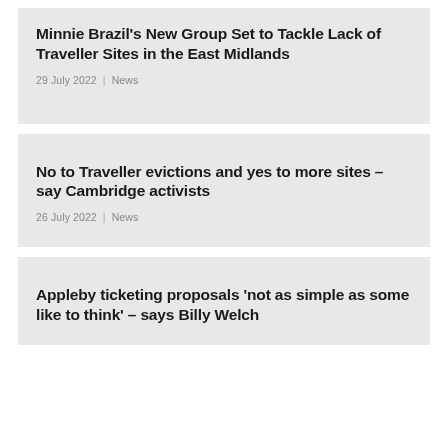Minnie Brazil's New Group Set to Tackle Lack of Traveller Sites in the East Midlands
29 July 2022  |  News
No to Traveller evictions and yes to more sites – say Cambridge activists
26 July 2022  |  News
Appleby ticketing proposals 'not as simple as some like to think' – says Billy Welch